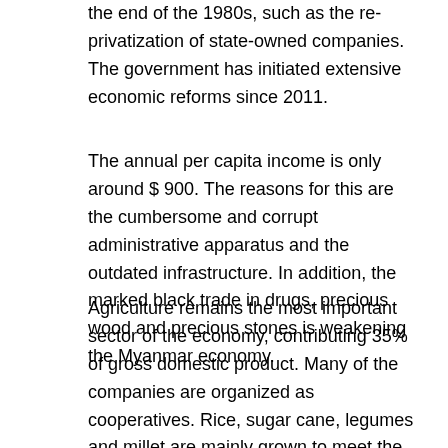the end of the 1980s, such as the re-privatization of state-owned companies. The government has initiated extensive economic reforms since 2011.
The annual per capita income is only around $ 900. The reasons for this are the cumbersome and corrupt administrative apparatus and the outdated infrastructure. In addition, the marked black trade in drugs, precious wood and precious stones is weakening the Myanmar economy.
Agriculture remains the most important sector of the economy, contributing 35% of gross domestic product. Many of the companies are organized as cooperatives. Rice, sugar cane, legumes and millet are mainly grown to meet the food needs of the population. In addition to rice as an important export product (Burma was the world's largest travel exporter until 1945), peanuts, jute and cotton are grown for export. Poppy is also cultivated in Myanmar, the raw material for opium and heroin. The focus is on the so-called golden triangle in the border area with